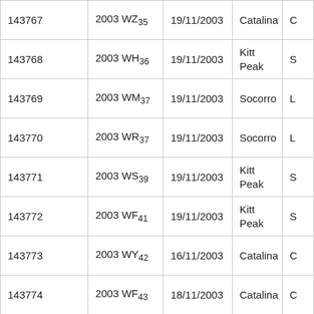| 143767 | 2003 WZ35 | 19/11/2003 | Catalina | C |
| 143768 | 2003 WH36 | 19/11/2003 | Kitt Peak | S |
| 143769 | 2003 WM37 | 19/11/2003 | Socorro | L |
| 143770 | 2003 WR37 | 19/11/2003 | Socorro | L |
| 143771 | 2003 WS39 | 19/11/2003 | Kitt Peak | S |
| 143772 | 2003 WF41 | 19/11/2003 | Kitt Peak | S |
| 143773 | 2003 WY42 | 16/11/2003 | Catalina | C |
| 143774 | 2003 WF43 | 18/11/2003 | Catalina | C |